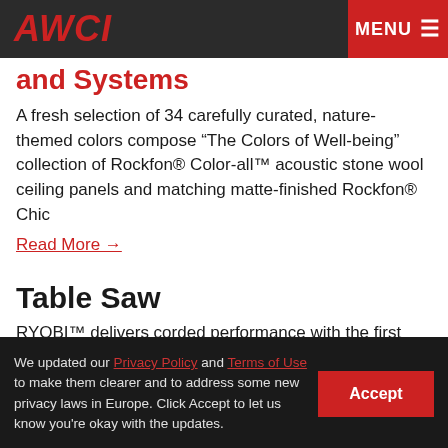AWCI | MENU
and Systems
A fresh selection of 34 carefully curated, nature-themed colors compose “The Colors of Well-being” collection of Rockfon® Color-all™ acoustic stone wool ceiling panels and matching matte-finished Rockfon® Chic
Read More →
Table Saw
RYOBI™ delivers corded performance with the first ever RYOBI™ 18V ONE+™ HP Brushless 8 1/4” Table Saw. Users can free themselves from the hassle of extension cords with the power of 18V ONE+™ HP Techn
We updated our Privacy Policy and Terms of Use to make them clearer and to address some new privacy laws in Europe. Click Accept to let us know you're okay with the updates.